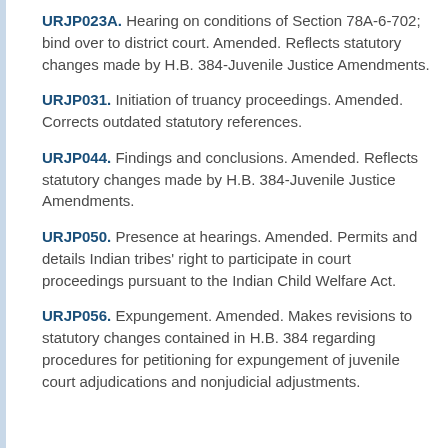URJP023A. Hearing on conditions of Section 78A-6-702; bind over to district court. Amended. Reflects statutory changes made by H.B. 384-Juvenile Justice Amendments.
URJP031. Initiation of truancy proceedings. Amended. Corrects outdated statutory references.
URJP044. Findings and conclusions. Amended. Reflects statutory changes made by H.B. 384-Juvenile Justice Amendments.
URJP050. Presence at hearings. Amended. Permits and details Indian tribes' right to participate in court proceedings pursuant to the Indian Child Welfare Act.
URJP056. Expungement. Amended. Makes revisions to statutory changes contained in H.B. 384 regarding procedures for petitioning for expungement of juvenile court adjudications and nonjudicial adjustments.